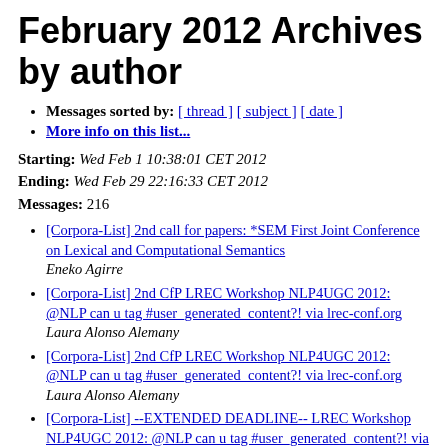February 2012 Archives by author
Messages sorted by: [ thread ] [ subject ] [ date ]
More info on this list...
Starting: Wed Feb 1 10:38:01 CET 2012
Ending: Wed Feb 29 22:16:33 CET 2012
Messages: 216
[Corpora-List] 2nd call for papers: *SEM First Joint Conference on Lexical and Computational Semantics  Eneko Agirre
[Corpora-List] 2nd CfP LREC Workshop NLP4UGC 2012: @NLP can u tag #user_generated_content?! via lrec-conf.org   Laura Alonso Alemany
[Corpora-List] 2nd CfP LREC Workshop NLP4UGC 2012: @NLP can u tag #user_generated_content?! via lrec-conf.org   Laura Alonso Alemany
[Corpora-List] --EXTENDED DEADLINE-- LREC Workshop NLP4UGC 2012: @NLP can u tag #user_generated_content?! via lrec-conf.org   Laura Alonso Alemany